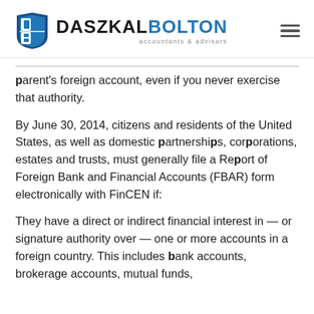[Figure (logo): Daszkal Bolton accountants & advisors logo with blue shield icon]
parent's foreign account, even if you never exercise that authority.
By June 30, 2014, citizens and residents of the United States, as well as domestic partnerships, corporations, estates and trusts, must generally file a Report of Foreign Bank and Financial Accounts (FBAR) form electronically with FinCEN if:
They have a direct or indirect financial interest in — or signature authority over — one or more accounts in a foreign country. This includes bank accounts, brokerage accounts, mutual funds,